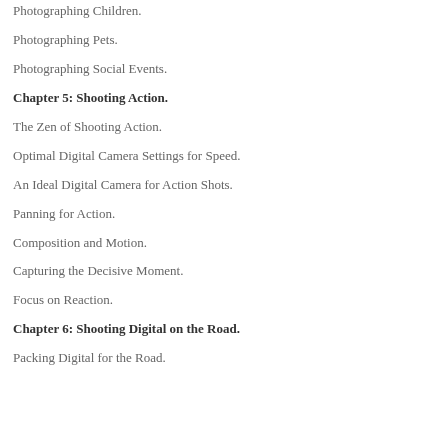Photographing Children.
Photographing Pets.
Photographing Social Events.
Chapter 5: Shooting Action.
The Zen of Shooting Action.
Optimal Digital Camera Settings for Speed.
An Ideal Digital Camera for Action Shots.
Panning for Action.
Composition and Motion.
Capturing the Decisive Moment.
Focus on Reaction.
Chapter 6: Shooting Digital on the Road.
Packing Digital for the Road.